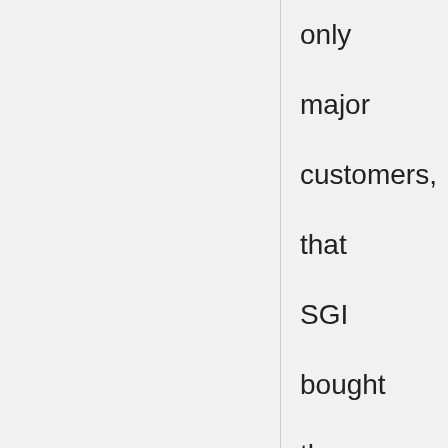only major customers, that SGI bought the company outright in 1992 in order to guarantee